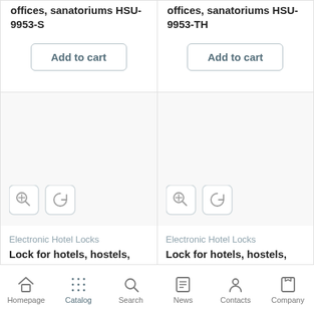Lock for hotels, hostels, offices, sanatoriums HSU-9953-S
Add to cart
Lock for hotels, hostels, offices, sanatoriums HSU-9953-TH
Add to cart
[Figure (illustration): Product image placeholder for HSU-9938-S with zoom and history icon buttons]
Electronic Hotel Locks
Lock for hotels, hostels, offices, sanatoriums HSU-9938-S
[Figure (illustration): Product image placeholder for HSU-9905-PG with zoom and history icon buttons]
Electronic Hotel Locks
Lock for hotels, hostels, offices, sanatoriums HSU-9905-PG
Homepage | Catalog | Search | News | Contacts | Company